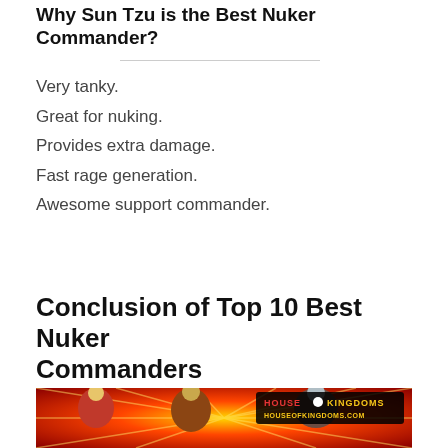Why Sun Tzu is the Best Nuker Commander?
Very tanky.
Great for nuking.
Provides extra damage.
Fast rage generation.
Awesome support commander.
Conclusion of Top 10 Best Nuker Commanders
[Figure (photo): Game art banner showing multiple fantasy/historical commanders with the House of Kingdoms logo and houseofkingdoms.com watermark, set against a red and yellow starburst background.]